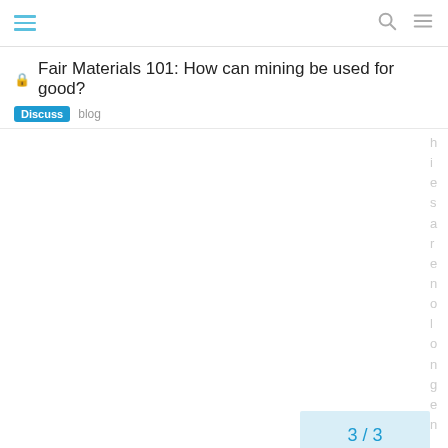Fair Materials 101: How can mining be used for good?
Discuss  blog
3 / 3